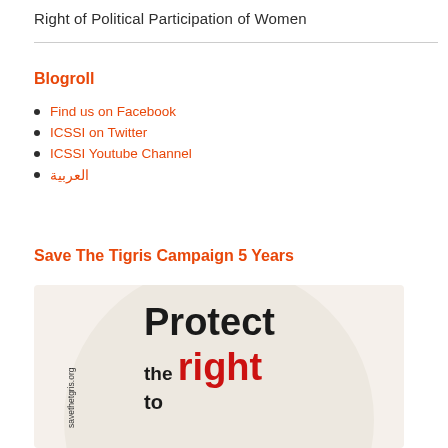Right of Political Participation of Women
Blogroll
Find us on Facebook
ICSSI on Twitter
ICSSI Youtube Channel
العربية
Save The Tigris Campaign 5 Years
[Figure (illustration): Circular logo/illustration with 'Protect the right to' text in bold black and red on a beige background, with 'savethetgris.org' text along the side.]